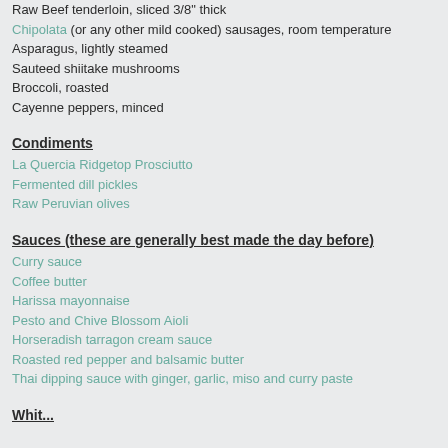Raw Beef tenderloin, sliced 3/8" thick
Chipolata (or any other mild cooked) sausages, room temperature
Asparagus, lightly steamed
Sauteed shiitake mushrooms
Broccoli, roasted
Cayenne peppers, minced
Condiments
La Quercia Ridgetop Prosciutto
Fermented dill pickles
Raw Peruvian olives
Sauces (these are generally best made the day before)
Curry sauce
Coffee butter
Harissa mayonnaise
Pesto and Chive Blossom Aioli
Horseradish tarragon cream sauce
Roasted red pepper and balsamic butter
Thai dipping sauce with ginger, garlic, miso and curry paste
Whit...